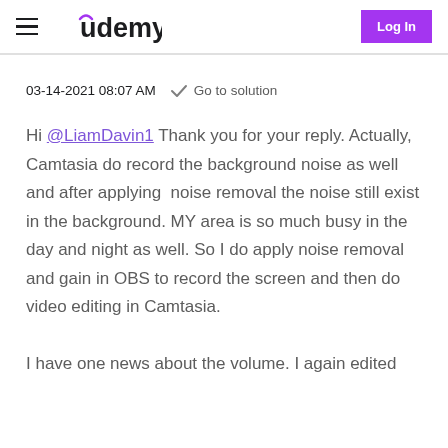Udemy — Log In
03-14-2021 08:07 AM  ✓ Go to solution
Hi @LiamDavin1 Thank you for your reply. Actually, Camtasia do record the background noise as well and after applying  noise removal the noise still exist in the background. MY area is so much busy in the day and night as well. So I do apply noise removal and gain in OBS to record the screen and then do video editing in Camtasia.

I have one news about the volume. I again edited